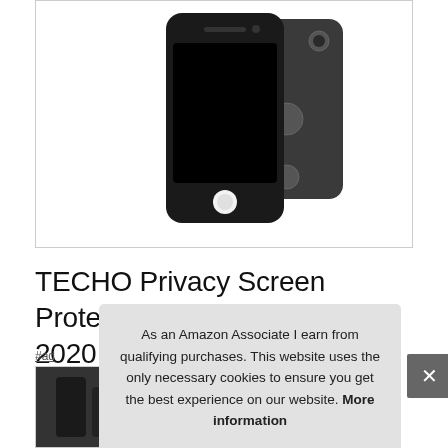[Figure (photo): Product photo of two iPhones showing front and back, displayed against white background inside a bordered box]
TECHO Privacy Screen Protector for Apple iPhone SE 2020 / iPhone 8 7 6S 6, Edge to Edge Full Cover Full Coverage, Anti Spy 9H Tempered Glass
As an Amazon Associate I earn from qualifying purchases. This website uses the only necessary cookies to ensure you get the best experience on our website. More information